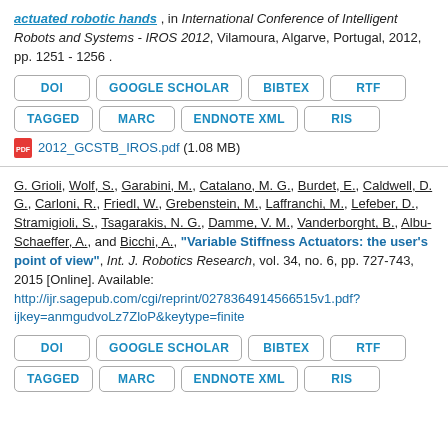actuated robotic hands, in International Conference of Intelligent Robots and Systems - IROS 2012, Vilamoura, Algarve, Portugal, 2012, pp. 1251 - 1256.
DOI
GOOGLE SCHOLAR
BIBTEX
RTF
TAGGED
MARC
ENDNOTE XML
RIS
2012_GCSTB_IROS.pdf (1.08 MB)
G. Grioli, Wolf, S., Garabini, M., Catalano, M. G., Burdet, E., Caldwell, D. G., Carloni, R., Friedl, W., Grebenstein, M., Laffranchi, M., Lefeber, D., Stramigioli, S., Tsagarakis, N. G., Damme, V. M., Vanderborght, B., Albu-Schaeffer, A., and Bicchi, A., "Variable Stiffness Actuators: the user's point of view", Int. J. Robotics Research, vol. 34, no. 6, pp. 727-743, 2015 [Online]. Available: http://ijr.sagepub.com/cgi/reprint/0278364914566515v1.pdf?ijkey=anmgudvoLz7ZloP&keytype=finite
DOI
GOOGLE SCHOLAR
BIBTEX
RTF
TAGGED
MARC
ENDNOTE XML
RIS